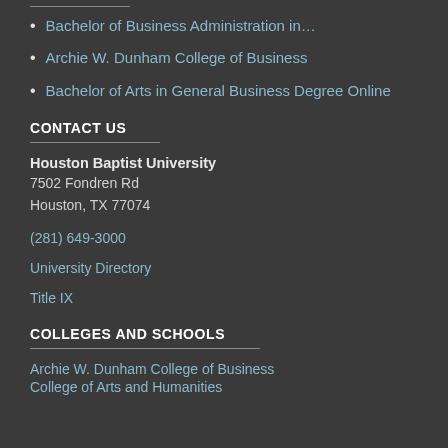Bachelor of Business Administration in…
Archie W. Dunham College of Business
Bachelor of Arts in General Business Degree Online
CONTACT US
Houston Baptist University
7502 Fondren Rd
Houston, TX 77074
(281) 649-3000
University Directory
Title IX
COLLEGES AND SCHOOLS
Archie W. Dunham College of Business
College of Arts and Humanities